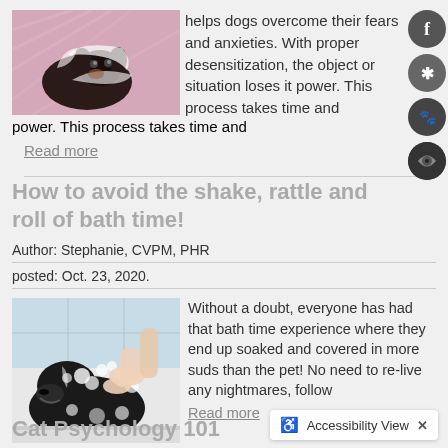[Figure (photo): Dog wrapped in a pink/white blanket looking at camera]
helps dogs overcome their fears and anxieties. With proper desensitization, the object or situation loses it power. This process takes time and
Read more
How to avoid the shake, rattle and roll of bath time!
Author: Stephanie, CVPM, PHR
posted: Oct. 23, 2020.
[Figure (photo): Person washing a large dark dog in a bathtub with soap suds]
Without a doubt, everyone has had that bath time experience where they end up soaked and covered in more suds than the pet! No need to re-live any nightmares, follow
Read more
Cat Psychology 101